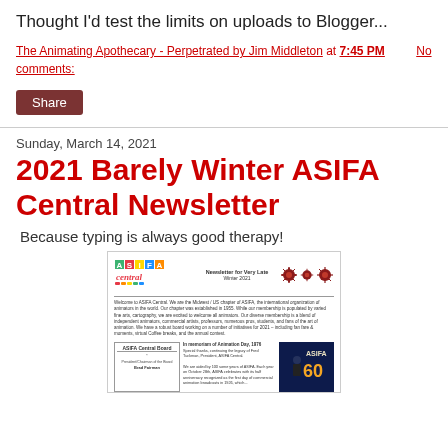Thought I'd test the limits on uploads to Blogger...
The Animating Apothecary - Perpetrated by Jim Middleton at 7:45 PM    No comments:
Share
Sunday, March 14, 2021
2021 Barely Winter ASIFA Central Newsletter
Because typing is always good therapy!
[Figure (screenshot): Thumbnail of the 2021 Barely Winter ASIFA Central Newsletter showing the ASIFA Central logo, newsletter header text, coronavirus icons, body text, board listing, and ASIFA 60th anniversary badge image.]